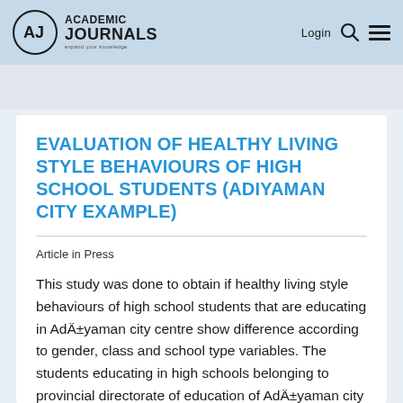ACADEMIC JOURNALS — expand your knowledge | Login
EVALUATION OF HEALTHY LIVING STYLE BEHAVIOURS OF HIGH SCHOOL STUDENTS (ADIYAMAN CITY EXAMPLE)
Article in Press
This study was done to obtain if healthy living style behaviours of high school students that are educating in AdÄ±yaman city centre show difference according to gender, class and school type variables. The students educating in high schools belonging to provincial directorate of education of AdÄ±yaman city in